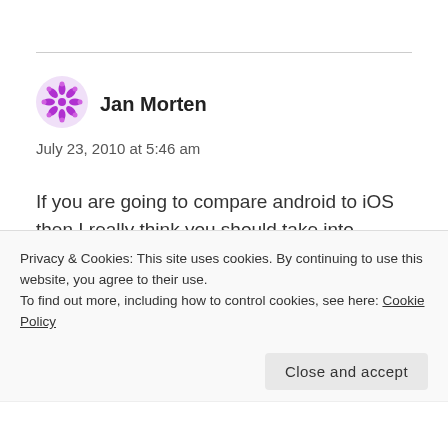[Figure (illustration): Purple snowflake/flower avatar icon for user Jan Morten]
Jan Morten
July 23, 2010 at 5:46 am
If you are going to compare android to iOS then I really think you should take into account the ipad, iphone 3gs and Iphone 4G. The fact that you are denying Apples dominating position in the market is unbelievable. The reason Android is going to
Privacy & Cookies: This site uses cookies. By continuing to use this website, you agree to their use.
To find out more, including how to control cookies, see here: Cookie Policy
Close and accept